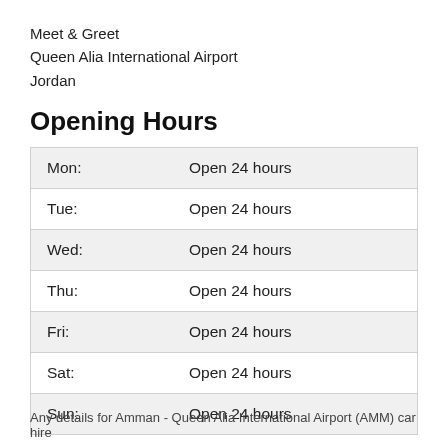Meet & Greet
Queen Alia International Airport
Jordan
Opening Hours
| Mon: | Open 24 hours |
| Tue: | Open 24 hours |
| Wed: | Open 24 hours |
| Thu: | Open 24 hours |
| Fri: | Open 24 hours |
| Sat: | Open 24 hours |
| Sun: | Open 24 hours |
Any details for Amman - Queen Alia International Airport (AMM) car hire